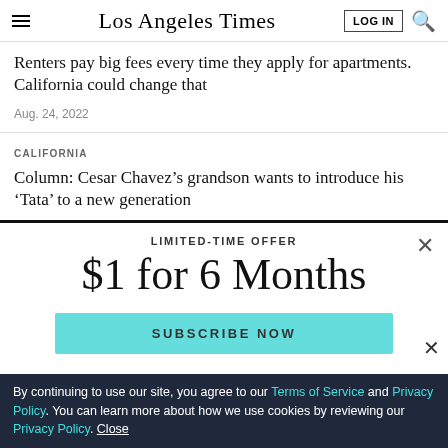Los Angeles Times
Renters pay big fees every time they apply for apartments. California could change that
Aug. 24, 2022
CALIFORNIA
Column: Cesar Chavez’s grandson wants to introduce his ‘Tata’ to a new generation
LIMITED-TIME OFFER
$1 for 6 Months
SUBSCRIBE NOW
By continuing to use our site, you agree to our Terms of Service and Privacy Policy. You can learn more about how we use cookies by reviewing our Privacy Policy. Close